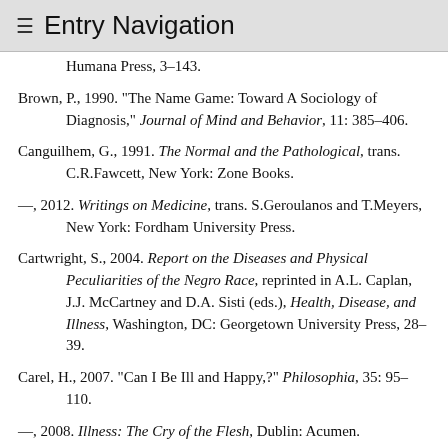≡ Entry Navigation
Humana Press, 3–143.
Brown, P., 1990. "The Name Game: Toward A Sociology of Diagnosis," Journal of Mind and Behavior, 11: 385–406.
Canguilhem, G., 1991. The Normal and the Pathological, trans. C.R.Fawcett, New York: Zone Books.
—, 2012. Writings on Medicine, trans. S.Geroulanos and T.Meyers, New York: Fordham University Press.
Cartwright, S., 2004. Report on the Diseases and Physical Peculiarities of the Negro Race, reprinted in A.L. Caplan, J.J. McCartney and D.A. Sisti (eds.), Health, Disease, and Illness, Washington, DC: Georgetown University Press, 28–39.
Carel, H., 2007. "Can I Be Ill and Happy,?" Philosophia, 35: 95–110.
—, 2008. Illness: The Cry of the Flesh, Dublin: Acumen.
Carter, K. C., 2003. The Rise of Causal Theories of Disease, Aldershot and Burlington, VT: Ashgate.